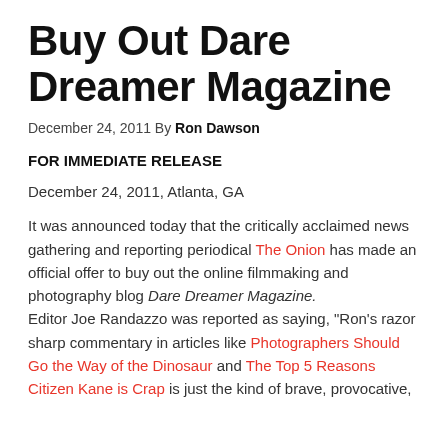Buy Out Dare Dreamer Magazine
December 24, 2011 By Ron Dawson
FOR IMMEDIATE RELEASE
December 24, 2011, Atlanta, GA
It was announced today that the critically acclaimed news gathering and reporting periodical The Onion has made an official offer to buy out the online filmmaking and photography blog Dare Dreamer Magazine. Editor Joe Randazzo was reported as saying, "Ron's razor sharp commentary in articles like Photographers Should Go the Way of the Dinosaur and The Top 5 Reasons Citizen Kane is Crap is just the kind of brave, provocative,